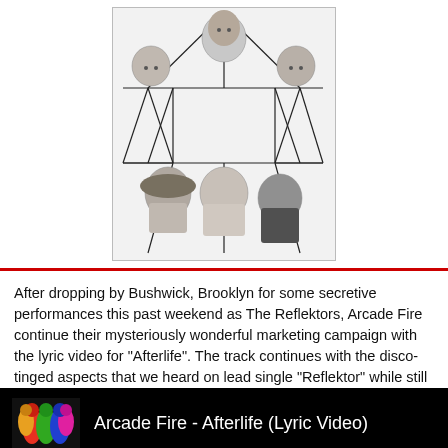[Figure (photo): Black and white photo of Arcade Fire band members arranged in a group with geometric line overlays (star/web pattern). Five members visible with long hair and short hair styles, against white background.]
After dropping by Bushwick, Brooklyn for some secretive performances this past weekend as The Reflektors, Arcade Fire continue their mysteriously wonderful marketing campaign with the lyric video for "Afterlife". The track continues with the disco-tinged aspects that we heard on lead single "Reflektor" while still feeling like classic Arcade Fire. The album drops next week. Scream and shout!
[Figure (screenshot): YouTube video embed showing black background with thumbnail of Arcade Fire band members in colorful costumes on left, and white text reading 'Arcade Fire - Afterlife (Lyric Video)' on right.]